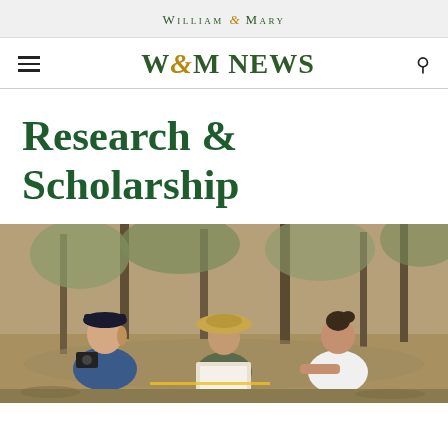William & Mary
W&M News
Research & Scholarship
[Figure (photo): Three women outdoors in a wooded area, two wearing hats (one dark baseball cap, one wide-brim tan hat), looking at a clipboard or document together. They appear to be conducting field research.]